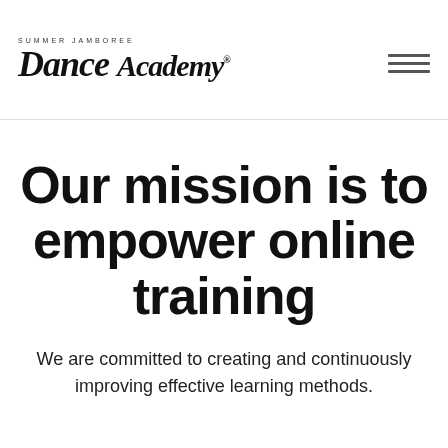[Figure (logo): Summer Jamboree Dance Academy logo with script lettering and small caps header text]
Our mission is to empower online training
We are committed to creating and continuously improving effective learning methods.